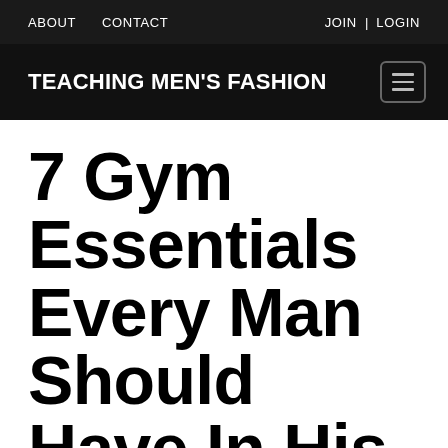ABOUT   CONTACT   JOIN  |  LOGIN
TEACHING MEN'S FASHION
7 Gym Essentials Every Man Should Have In His Gym